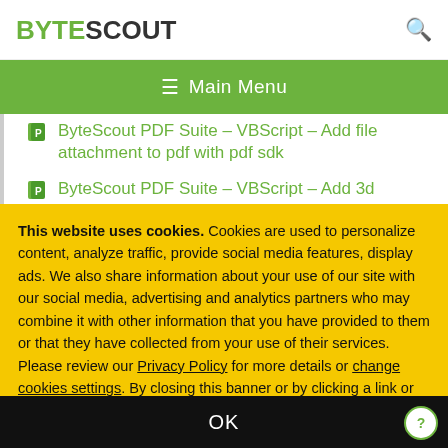BYTESCOUT
≡  Main Menu
ByteScout PDF Suite – VBScript – Add file attachment to pdf with pdf sdk
ByteScout PDF Suite – VBScript – Add 3d
This website uses cookies. Cookies are used to personalize content, analyze traffic, provide social media features, display ads. We also share information about your use of our site with our social media, advertising and analytics partners who may combine it with other information that you have provided to them or that they have collected from your use of their services. Please review our Privacy Policy for more details or change cookies settings. By closing this banner or by clicking a link or continuing to browse otherwise, you consent to our cookies.
OK